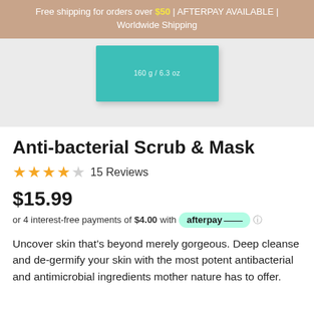Free shipping for orders over $50 | AFTERPAY AVAILABLE | Worldwide Shipping
[Figure (photo): Product photo of Anti-bacterial Scrub & Mask in teal/turquoise rectangular packaging showing '160 g / 6.3 oz' on a light grey background]
Anti-bacterial Scrub & Mask
15 Reviews
$15.99
or 4 interest-free payments of $4.00 with afterpay
Uncover skin that's beyond merely gorgeous. Deep cleanse and de-germify your skin with the most potent antibacterial and antimicrobial ingredients mother nature has to offer.